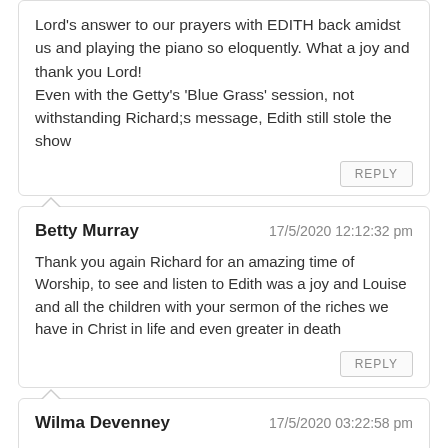Lord's answer to our prayers with EDITH back amidst us and playing the piano so eloquently. What a joy and thank you Lord!
Even with the Getty's 'Blue Grass' session, not withstanding Richard;s message, Edith still stole the show
REPLY
Betty Murray    17/5/2020 12:12:32 pm
Thank you again Richard for an amazing time of Worship, to see and listen to Edith was a joy and Louise and all the children with your sermon of the riches we have in Christ in life and even greater in death
REPLY
Wilma Devenney    17/5/2020 03:22:58 pm
Thank you Richard for a wonderful service today with such variety and several taking part . What an encouragement to hear and see Edith playing. I loved when she turned her head and looked at the camera. What a powerful God we have ! Thank you Richard for all you do to bless us through these